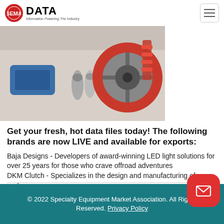SEMA DATA - Information Powering The Industry
[Figure (photo): Hero image showing automotive parts including brake pads, spark plugs, a red brake disc/rotor, springs, and other performance car parts on a light background]
Get your fresh, hot data files today! The following brands are now LIVE and available for exports:
Baja Designs - Developers of award-winning LED light solutions for over 25 years for those who crave offroad adventures
DKM Clutch - Specializes in the design and manufacturing of performance...
Read More
© 2022 Specialty Equipment Market Association. All Rights Reserved. Privacy Policy